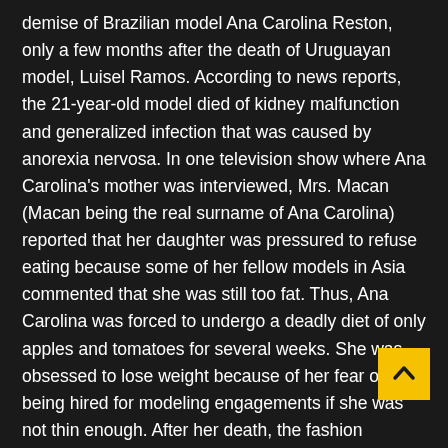demise of Brazilian model Ana Carolina Reston, only a few months after the death of Uruguayan model, Luisel Ramos. According to news reports, the 21-year-old model died of kidney malfunction and generalized infection that was caused by anorexia nervosa. In one television show where Ana Carolina's mother was interviewed, Mrs. Macan (Macan being the real surname of Ana Carolina) reported that her daughter was pressured to refuse eating because some of her fellow models in Asia commented that she was still too fat. Thus, Ana Carolina was forced to undergo a deadly diet of only apples and tomatoes for several weeks. She was obsessed to lose weight because of her fear of not being hired for modeling engagements if she was not thin enough. After her death, the fashion industry implemented precautionary measures in response to the incident. Fashion show organizers in Madrid, London, and Milan refused to hire ultra-thin models and also required a specific body mass index among those that will be featured in the runway. According to these organizers, th want to exemplify an image of health and beauty among viewers of the show who are mostly women, especially the